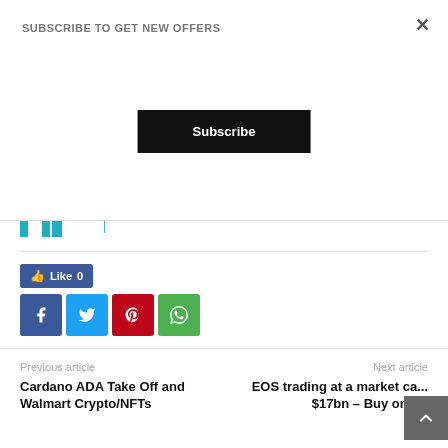SUBSCRIBE TO GET NEW OFFERS
Subscribe
[Figure (logo): myForexFunds logo with teal bull icon and 'MF' letters, followed by 'myForexFunds' brand name in teal]
Like 0
[Figure (infographic): Social share buttons for Facebook, Twitter, Pinterest, and WhatsApp]
Previous article
Next article
Cardano ADA Take Off and Walmart Crypto/NFTs
EOS trading at a market ca... $17bn – Buy or S...